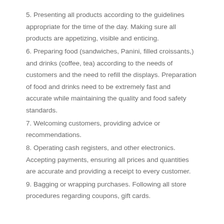5. Presenting all products according to the guidelines appropriate for the time of the day. Making sure all products are appetizing, visible and enticing.
6. Preparing food (sandwiches, Panini, filled croissants,) and drinks (coffee, tea) according to the needs of customers and the need to refill the displays. Preparation of food and drinks need to be extremely fast and accurate while maintaining the quality and food safety standards.
7. Welcoming customers, providing advice or recommendations.
8. Operating cash registers, and other electronics. Accepting payments, ensuring all prices and quantities are accurate and providing a receipt to every customer.
9. Bagging or wrapping purchases. Following all store procedures regarding coupons, gift cards.